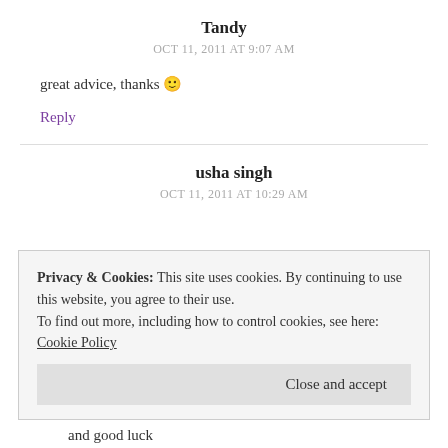Tandy
OCT 11, 2011 AT 9:07 AM
great advice, thanks 🙂
Reply
usha singh
OCT 11, 2011 AT 10:29 AM
Privacy & Cookies: This site uses cookies. By continuing to use this website, you agree to their use. To find out more, including how to control cookies, see here: Cookie Policy
Close and accept
and good luck